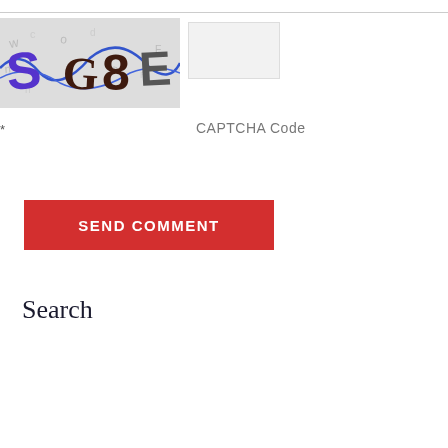[Figure (other): CAPTCHA image showing distorted characters S, G, 8, E with decorative background letters and blue/brown colored text]
CAPTCHA Code
*
SEND COMMENT
Search